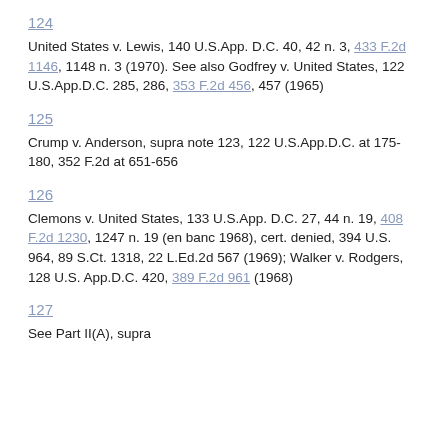124
United States v. Lewis, 140 U.S.App. D.C. 40, 42 n. 3, 433 F.2d 1146, 1148 n. 3 (1970). See also Godfrey v. United States, 122 U.S.App.D.C. 285, 286, 353 F.2d 456, 457 (1965)
125
Crump v. Anderson, supra note 123, 122 U.S.App.D.C. at 175-180, 352 F.2d at 651-656
126
Clemons v. United States, 133 U.S.App. D.C. 27, 44 n. 19, 408 F.2d 1230, 1247 n. 19 (en banc 1968), cert. denied, 394 U.S. 964, 89 S.Ct. 1318, 22 L.Ed.2d 567 (1969); Walker v. Rodgers, 128 U.S. App.D.C. 420, 389 F.2d 961 (1968)
127
See Part II(A), supra